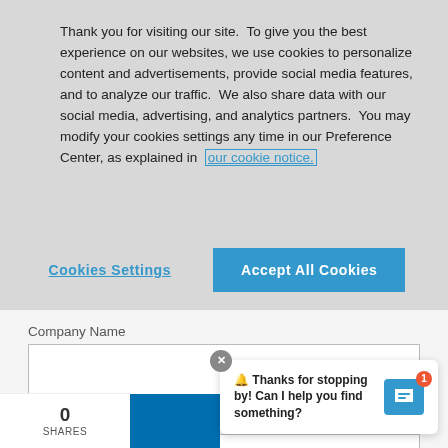Thank you for visiting our site.  To give you the best experience on our websites, we use cookies to personalize content and advertisements, provide social media features, and to analyze our traffic.  We also share data with our social media, advertising, and analytics partners.  You may modify your cookies settings any time in our Preference Center, as explained in our cookie notice.
Cookies Settings | Accept All Cookies
Company Name
Industry *
Select...
0 SHARES
🔔 Thanks for stopping by! Can I help you find something?